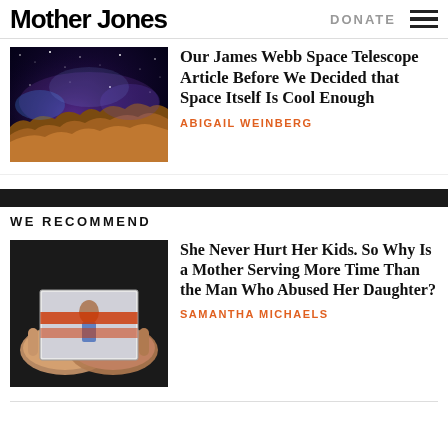Mother Jones | DONATE
[Figure (photo): James Webb Space Telescope deep field image showing cosmic cliffs with stars and nebulae]
Our James Webb Space Telescope Article Before We Decided that Space Itself Is Cool Enough
ABIGAIL WEINBERG
WE RECOMMEND
[Figure (photo): Hands holding a small photo of a child with red bars overlaid on the image, dark background]
She Never Hurt Her Kids. So Why Is a Mother Serving More Time Than the Man Who Abused Her Daughter?
SAMANTHA MICHAELS